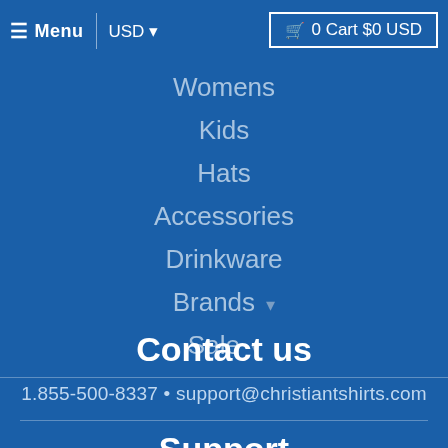≡ Menu | USD ▾   🛒 0 Cart $0 USD
Womens
Kids
Hats
Accessories
Drinkware
Brands ▾
Sale ▾
Contact us
1.855-500-8337 • support@christiantshirts.com
Support